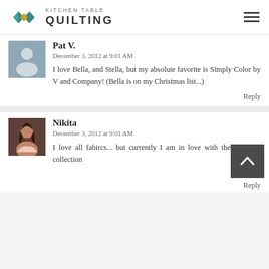Kitchen Table Quilting
Pat V.
December 3, 2012 at 9:01 AM
I love Bella, and Stella, but my absolute favorite is Simply Color by V and Company! (Bella is on my Christmas list...)
Reply
Nikita
December 3, 2012 at 9:01 AM
I love all fabircs... but currently I am in love with the chicopee collection
Reply